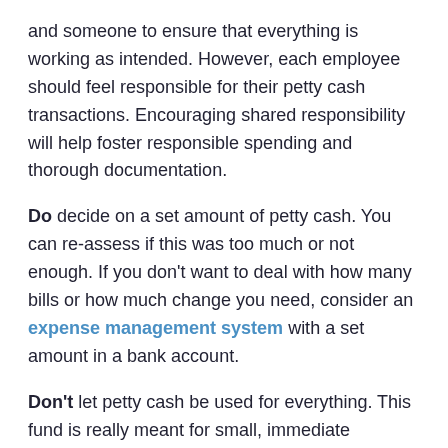and someone to ensure that everything is working as intended. However, each employee should feel responsible for their petty cash transactions. Encouraging shared responsibility will help foster responsible spending and thorough documentation.
Do decide on a set amount of petty cash. You can re-assess if this was too much or not enough. If you don't want to deal with how many bills or how much change you need, consider an expense management system with a set amount in a bank account.
Don't let petty cash be used for everything. This fund is really meant for small, immediate purchases. Set limits to what does and doesn't fit under petty cash. With careful documentation, you should be able to check and see where the petty cash money is going and discourage larger purchases through the petty cash system.
Petty cash doesn't have to be an undocumented mess